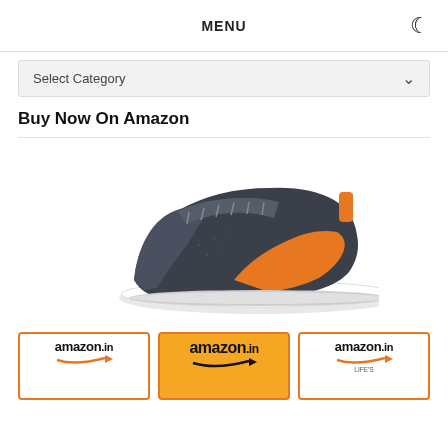MENU
Select Category
Buy Now On Amazon
[Figure (photo): Puma running shoe, dark charcoal/grey with orange Puma logo stripe and orange heel tab, white sole, facing right]
[Figure (logo): Three amazon.in logo cards side by side with orange borders, showing amazon.in branding with arrow]
amazon.in  amazon.in  amazon.in